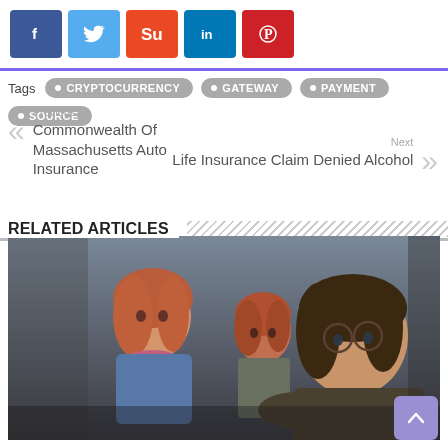[Figure (other): Social media sharing buttons: Facebook, Twitter, StumbleUpon, LinkedIn, Pinterest]
Tags  CRYPTOCURRENCY  GATEWAY  PAYMENT  SOURCE
Previous
Commonwealth Of Massachusetts Auto Insurance
Next
Life Insurance Claim Denied Alcohol
RELATED ARTICLES
[Figure (photo): Photo of three young people (Hermione, Ron, and Harry from Harry Potter) crouching and looking alert in a dark stone setting]